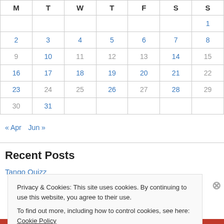| M | T | W | T | F | S | S |
| --- | --- | --- | --- | --- | --- | --- |
|  |  |  |  |  |  | 1 |
| 2 | 3 | 4 | 5 | 6 | 7 | 8 |
| 9 | 10 | 11 | 12 | 13 | 14 | 15 |
| 16 | 17 | 18 | 19 | 20 | 21 | 22 |
| 23 | 24 | 25 | 26 | 27 | 28 | 29 |
| 30 | 31 |  |  |  |  |  |
« Apr   Jun »
Recent Posts
Tango Quizz
Privacy & Cookies: This site uses cookies. By continuing to use this website, you agree to their use.
To find out more, including how to control cookies, see here: Cookie Policy